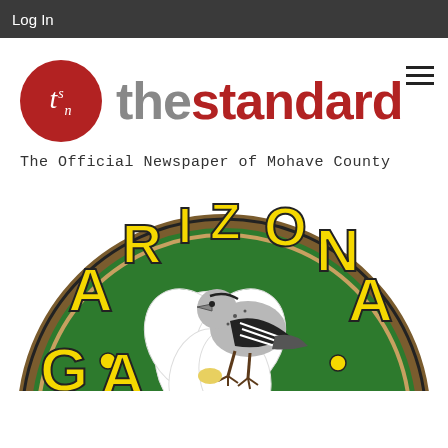Log In
[Figure (logo): The Standard Newspaper logo: dark red circle with 'tsn' in white italic text, followed by 'thestandard' in large bold text where 'the' is gray and 'standard' is dark red. Hamburger menu icon in top right.]
The Official Newspaper of Mohave County
[Figure (photo): Arizona state seal or official seal showing a cactus wren bird on a saguaro cactus with flower, surrounded by yellow block letters spelling 'ARIZONA' on a green circular background with brown rope border. Partial view cropped at bottom.]